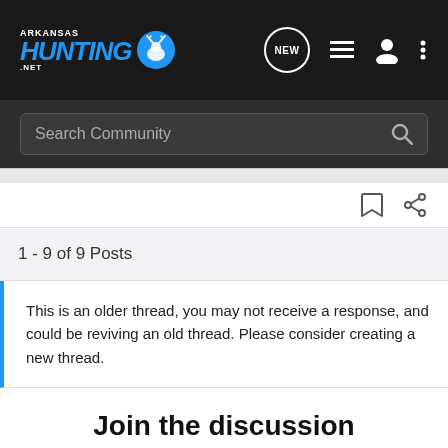[Figure (logo): Arkansas Hunting .net logo with deer/hunting icon in blue and white on dark background]
Search Community
1 - 9 of 9 Posts
This is an older thread, you may not receive a response, and could be reviving an old thread. Please consider creating a new thread.
Join the discussion
Continue with Facebook
Continue with Google